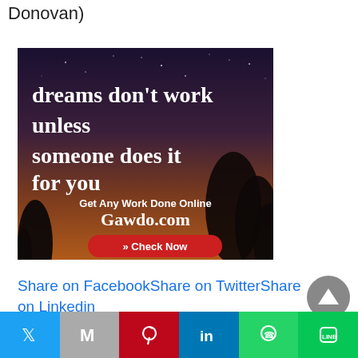Donovan)
[Figure (illustration): Advertisement image with dark night sky background, silhouetted trees, text reading 'dreams don't work unless someone does it for you', 'Get Any Work Done Online', 'Gawdo.com', and a red 'Check Now' button]
Share on FacebookShare on TwitterShare on Linkedin
[Figure (other): Gray circular scroll-to-top button with upward triangle]
[Figure (infographic): Social media sharing bar with Twitter, Gmail, Pinterest, LinkedIn, WhatsApp, and Line icons]